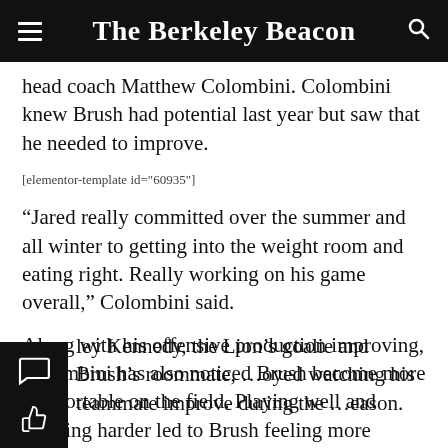The Berkeley Beacon
head coach Matthew Colombini. Colombini knew Brush had potential last year but saw that he needed to improve.
[elementor-template id="60935"]
“Jared really committed over the summer and all winter to getting into the weight room and eating right. Really working on his game overall,” Colombini said.
Along with his offensive production improving, Colombini has also noticed Brush become more comfortable on the field. Playing well and working harder led to Brush feeling more confident on and off the field, Colombini said.
ley Kennedy, the Lion’s goalie and Brush’s roommate, …oyed watching his teammate improve during the …eason.